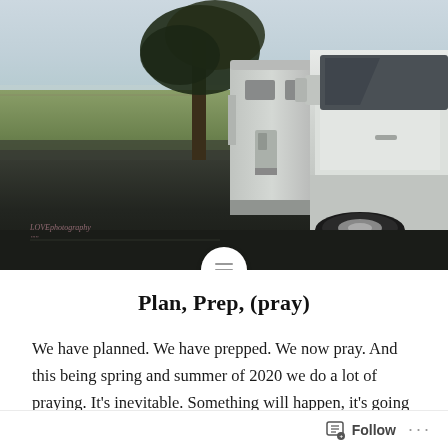[Figure (photo): Outdoor photo of a white RV/travel trailer and white pickup truck parked on a dark asphalt surface, with a large tree and flat green field in the background under a pale sky. A watermark text reading 'LOVEphotography' and additional small text appears in the lower left of the photo.]
Plan, Prep, (pray)
We have planned. We have prepped. We now pray. And this being spring and summer of 2020 we do a lot of praying. It's inevitable. Something will happen, it's going to and nothing you do stops it. When the Coronovirus hit we prayed